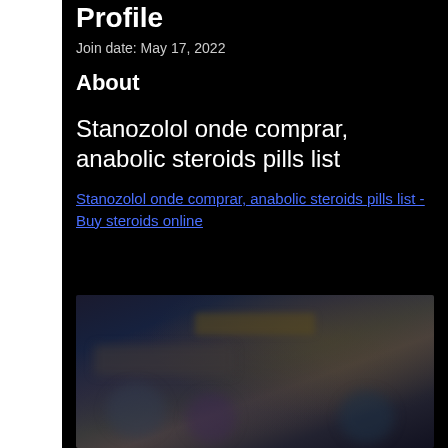Profile
Join date: May 17, 2022
About
Stanozolol onde comprar, anabolic steroids pills list
Stanozolol onde comprar, anabolic steroids pills list - Buy steroids online
[Figure (photo): Blurred product image showing supplement/steroid related items]